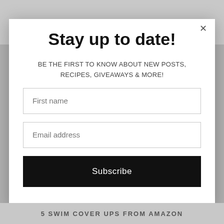[Figure (photo): Background image of girls, partially visible at top. Text 'Girls Getaway to Miami' in italic script overlaid at bottom of image.]
Stay up to date!
BE THE FIRST TO KNOW ABOUT NEW POSTS, RECIPES, GIVEAWAYS & MORE!
First name
Email address
Subscribe
5 SWIM COVER UPS FROM AMAZON